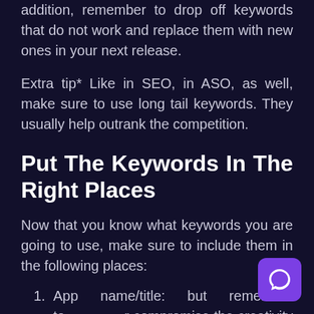addition, remember to drop off keywords that do not work and replace them with new ones in your next release.
Extra tip* Like in SEO, in ASO, as well, make sure to use long tail keywords. They usually help outrank the competition.
Put The Keywords In The Right Places
Now that you know what keywords you are going to use, make sure to include them in the following places:
App name/title: but remember to not compromise the creativity of the app t...
App subtitle (for iOS App Store only): here